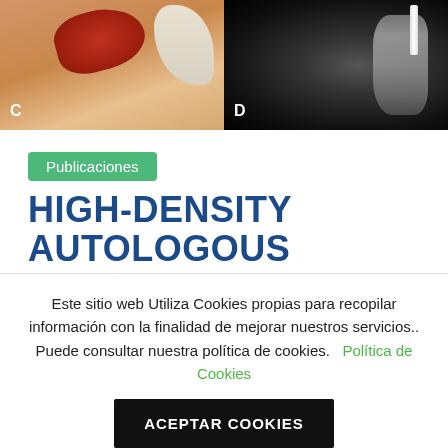[Figure (photo): Two medical images side by side. Left (C): surgical photo showing red tissue/cartilage being worked on with instruments, gloved hands visible. Right (D): X-ray image of ankle/foot showing bone structure with surgical hardware.]
C
D
Publicaciones
HIGH-DENSITY AUTOLOGOUS CHONDROCYTE IMPLANTATION AS TREATMENT FOR ANKLE
Este sitio web Utiliza Cookies propias para recopilar información con la finalidad de mejorar nuestros servicios.. Puede consultar nuestra política de cookies.  Política de Cookies
ACEPTAR COOKIES